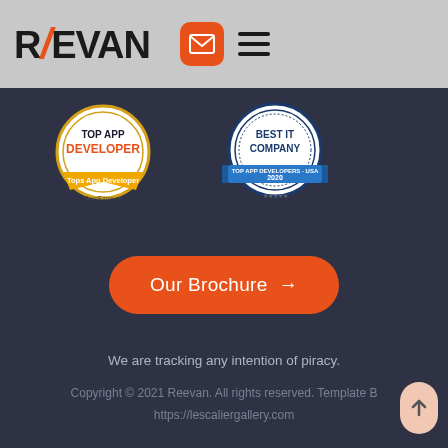[Figure (logo): REEVAN company logo with stylized R and slash in orange]
[Figure (illustration): Top App Developer badge — circular badge with gold ribbon, orange text saying DEVELOPER, and Tops App Developer ribbon]
[Figure (illustration): Best IT Company badge — circular badge with blue ribbon, text saying BEST IT COMPANY, TOP APP DEVELOPERS - USA, 2020]
Our Brochure →
We are tracking any intention of piracy.
Copyright © 2021 Reevan. All rights reserved. Template B
https://lescaliergallery.com